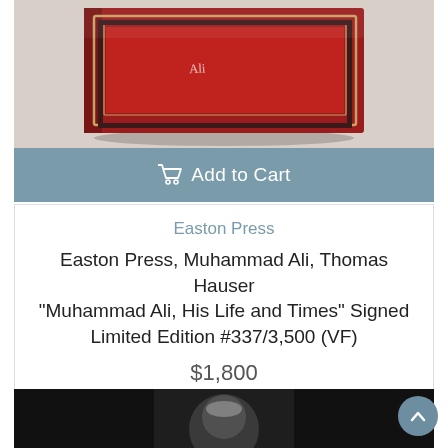[Figure (photo): Close-up of a red hardcover book with ornate gold and black border design on cover, shown from above at slight angle on white/grey background.]
Add to Cart
Easton Press
Easton Press, Muhammad Ali, Thomas Hauser "Muhammad Ali, His Life and Times" Signed Limited Edition #337/3,500 (VF)
$1,800
[Figure (photo): Black and white photograph partially visible at bottom of page, showing a person.]